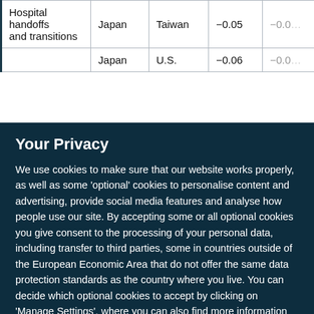| Hospital handoffs and transitions | Japan | Taiwan | −0.05 | −0.0 |
|  | Japan | U.S. | −0.06 | −0.0 |
Your Privacy
We use cookies to make sure that our website works properly, as well as some 'optional' cookies to personalise content and advertising, provide social media features and analyse how people use our site. By accepting some or all optional cookies you give consent to the processing of your personal data, including transfer to third parties, some in countries outside of the European Economic Area that do not offer the same data protection standards as the country where you live. You can decide which optional cookies to accept by clicking on 'Manage Settings', where you can also find more information about how your personal data is processed. Further information can be found in our privacy policy.
Accept all cookies
Manage preferences